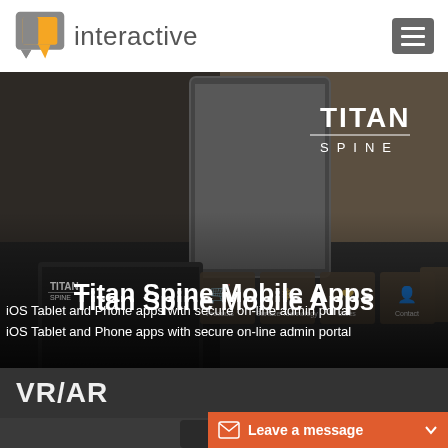[Figure (logo): R3 Interactive company logo with orange speech bubble icon and grey text 'interactive']
[Figure (screenshot): Titan Spine mobile app screenshot showing app interface on tablet and phone with sandy/ocean background, navigation icons for Products, Surface Technology, Sales, Contact]
Titan Spine Mobile Apps
iOS Tablet and Phone apps with secure on-line admin portal
VR/AR
[Figure (screenshot): Partial screenshot of a device showing VR/AR content]
Leave a message